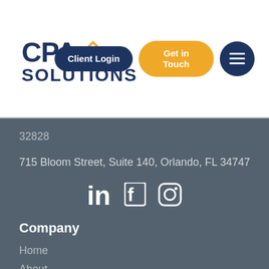[Figure (logo): CPA Solutions logo with diamond shape icon in orange, text CPA SOLUTIONS in dark navy blue]
[Figure (infographic): Navigation buttons: Client Login (dark navy rounded), Get in Touch (orange rounded), hamburger menu (dark navy circle)]
32828
715 Bloom Street, Suite 140, Orlando, FL 34747
[Figure (infographic): Social media icons: LinkedIn, Facebook, Instagram in white]
Company
Home
About